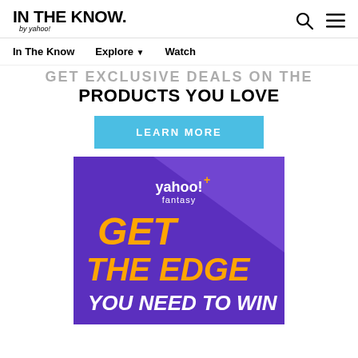IN THE KNOW. by yahoo!
In The Know   Explore ▾   Watch
GET EXCLUSIVE DEALS ON THE PRODUCTS YOU LOVE
LEARN MORE
[Figure (illustration): Yahoo!+ Fantasy advertisement with purple background showing 'GET THE EDGE YOU NEED TO WIN' in bold orange and white text, with yahoo!+ fantasy logo at top]